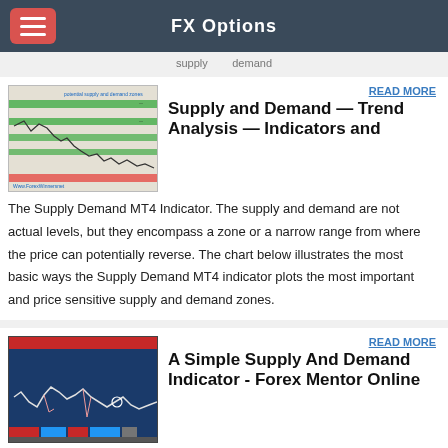FX Options
supply and demand
[Figure (screenshot): Supply and demand MT4 chart with green and red horizontal zones marking supply and demand areas]
READ MORE
Supply and Demand — Trend Analysis — Indicators and
The Supply Demand MT4 Indicator. The supply and demand are not actual levels, but they encompass a zone or a narrow range from where the price can potentially reverse. The chart below illustrates the most basic ways the Supply Demand MT4 indicator plots the most important and price sensitive supply and demand zones.
[Figure (screenshot): A simple supply and demand indicator chart with blue background and red/pink candlestick markers]
READ MORE
A Simple Supply And Demand Indicator - Forex Mentor Online